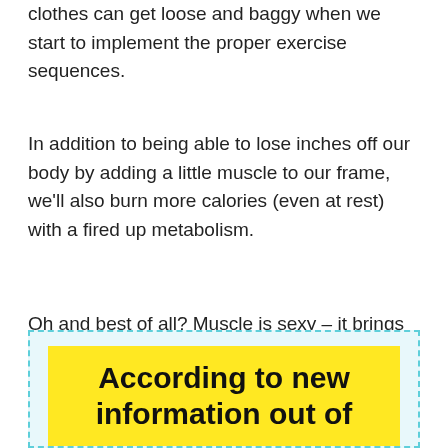clothes can get loose and baggy when we start to implement the proper exercise sequences.
In addition to being able to lose inches off our body by adding a little muscle to our frame, we'll also burn more calories (even at rest) with a fired up metabolism.
Oh and best of all? Muscle is sexy – it brings all the youthful curves to our body.
[Figure (infographic): Yellow highlighted box with dashed cyan border containing bold text: 'According to new information out of']